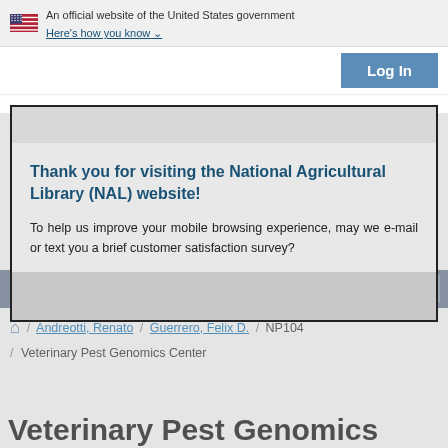An official website of the United States government Here's how you know
Log In
USDA   Ag Data Commons
Thank you for visiting the National Agricultural Library (NAL) website!

To help us improve your mobile browsing experience, may we e-mail or text you a brief customer satisfaction survey?
Andreotti, Renato / Guerrero, Felix D. / NP104 / Veterinary Pest Genomics Center
Veterinary Pest Genomics